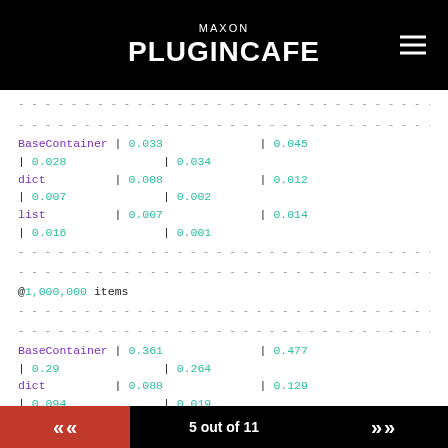MAXON PLUGINCAFE
-- separator line --
-- separator line --
BaseContainer | 0.033 | 0.045 | 0.028 | 0.034
dict         | 0.008 | 0.012 | 0.007 | 0.002
list         | 0.007 | 0.014 | 0.016 | 0.001
-- separator line --
-- separator line --
@1,000,000 items
-- separator line --
-- separator line --
BaseContainer | 0.361 | 0.477 | 0.29 | 0.264
dict         | 0.088 | 0.129 | 0.094 | 0.019
5 out of 11